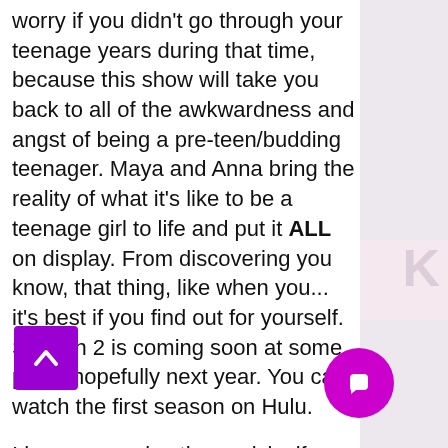worry if you didn't go through your teenage years during that time, because this show will take you back to all of the awkwardness and angst of being a pre-teen/budding teenager. Maya and Anna bring the reality of what it's like to be a teenage girl to life and put it ALL on display. From discovering you know, that thing, like when you... it's best if you find out for yourself. Season 2 is coming soon at some point, hopefully next year. You can watch the first season on Hulu.
I hope you enjoy these picks if you haven't watched any of them yet. Keep [watching] and enjoy the rest of your [quaran]tine. And as always stay safe[...]